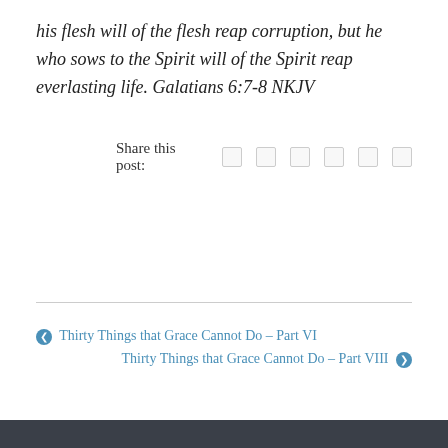his flesh will of the flesh reap corruption, but he who sows to the Spirit will of the Spirit reap everlasting life.  Galatians 6:7-8 NKJV
Share this post:
◀ Thirty Things that Grace Cannot Do – Part VI
Thirty Things that Grace Cannot Do – Part VIII ▶